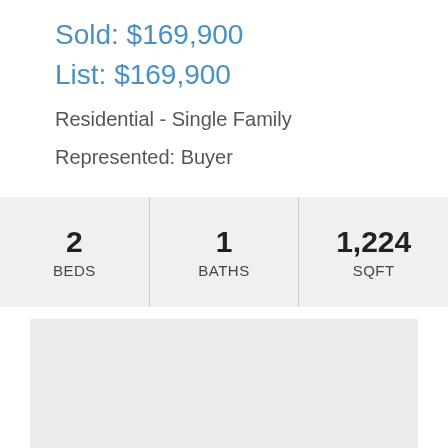Sold: $169,900
List: $169,900
Residential - Single Family
Represented: Buyer
| BEDS | BATHS | SQFT |
| --- | --- | --- |
| 2 | 1 | 1,224 |
[Figure (photo): Property photo area (blank/grey placeholder)]